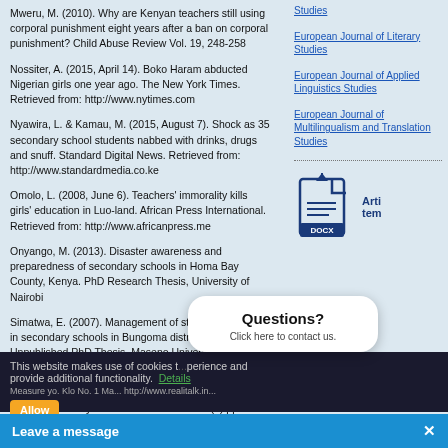Mweru, M. (2010). Why are Kenyan teachers still using corporal punishment eight years after a ban on corporal punishment? Child Abuse Review Vol. 19, 248-258
Nossiter, A. (2015, April 14). Boko Haram abducted Nigerian girls one year ago. The New York Times. Retrieved from: http://www.nytimes.com
Nyawira, L. & Kamau, M. (2015, August 7). Shock as 35 secondary school students nabbed with drinks, drugs and snuff. Standard Digital News. Retrieved from: http://www.standardmedia.co.ke
Omolo, L. (2008, June 6). Teachers' immorality kills girls' education in Luo-land. African Press International. Retrieved from: http://www.africanpress.me
Onyango, M. (2013). Disaster awareness and preparedness of secondary schools in Homa Bay County, Kenya. PhD Research Thesis, University of Nairobi
Simatwa, E. (2007). Management of student discipline in secondary schools in Bungoma district, Kenya. Unpublished PhD Thesis, Maseno University
Simatwa, E. (2012). Management of student discipline in secondary schools in Kenya, a case study of Bungoma County. Educational Research 3 (2) pp.
The Government of Kitui (2014). About...
Studies
European Journal of Literary Studies
European Journal of Applied Linguistics Studies
European Journal of Multilingualism and Translation Studies
[Figure (illustration): DOCX file icon with download arrow, representing article template download]
This website makes use of cookies to improve user experience and provide additional functionality. Details
Questions? Click here to contact us.
Leave a message